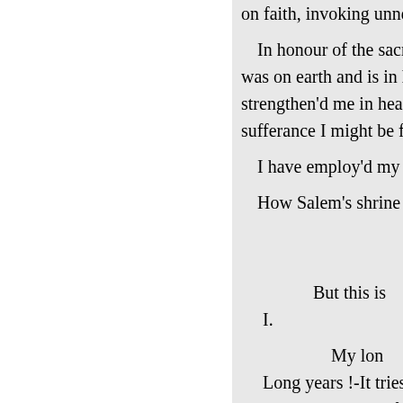...on faith, invoking unnecessarily...
In honour of the sacred war fo...
was on earth and is in heaven, m...
strengthen'd me in heart and limb...
sufferance I might be forgiven, b...
I have employ'd my penance t...
How Salem's shrine was won,...
But this is...
I.
My lon...
Long years !-It tries the thri...
And eagle-spirit of a child c...
Know that my sorrows have w...
my young creation! my soul's ch...
Which ever playing round me...
And woo'd me from myself wi...
Thou too art gone—and so is m...
And therefore do I weep ard in...